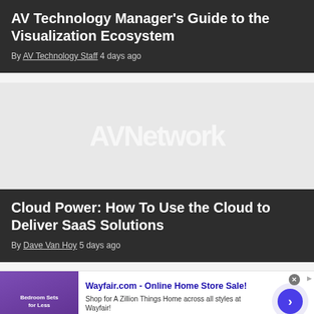AV Technology Manager's Guide to the Visualization Ecosystem
By AV Technology Staff 4 days ago
[Figure (screenshot): Light grey image placeholder with AVNetwork watermark text centered]
Cloud Power: How To Use the Cloud to Deliver SaaS Solutions
By Dave Van Hoy 5 days ago
[Figure (infographic): Wayfair.com advertisement banner: Online Home Store Sale! Shop for A Zillion Things Home across all styles at Wayfair! www.wayfair.com]